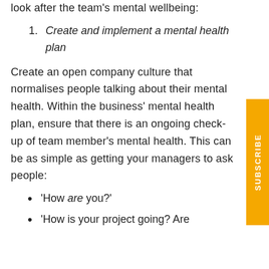look after the team's mental wellbeing:
1. Create and implement a mental health plan
Create an open company culture that normalises people talking about their mental health. Within the business' mental health plan, ensure that there is an ongoing check-up of team member's mental health. This can be as simple as getting your managers to ask people:
'How are you?'
'How is your project going? Are